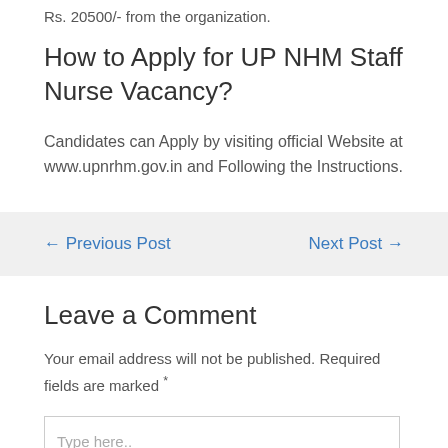Rs. 20500/- from the organization.
How to Apply for UP NHM Staff Nurse Vacancy?
Candidates can Apply by visiting official Website at www.upnrhm.gov.in and Following the Instructions.
← Previous Post
Next Post →
Leave a Comment
Your email address will not be published. Required fields are marked *
Type here..